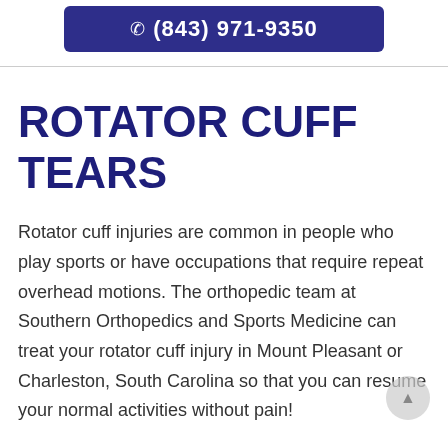(843) 971-9350
ROTATOR CUFF TEARS
Rotator cuff injuries are common in people who play sports or have occupations that require repeat overhead motions. The orthopedic team at Southern Orthopedics and Sports Medicine can treat your rotator cuff injury in Mount Pleasant or Charleston, South Carolina so that you can resume your normal activities without pain!